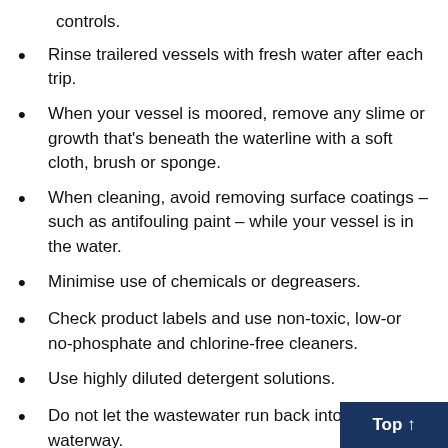controls.
Rinse trailered vessels with fresh water after each trip.
When your vessel is moored, remove any slime or growth that's beneath the waterline with a soft cloth, brush or sponge.
When cleaning, avoid removing surface coatings – such as antifouling paint – while your vessel is in the water.
Minimise use of chemicals or degreasers.
Check product labels and use non-toxic, low-or no-phosphate and chlorine-free cleaners.
Use highly diluted detergent solutions.
Do not let the wastewater run back into the waterway.